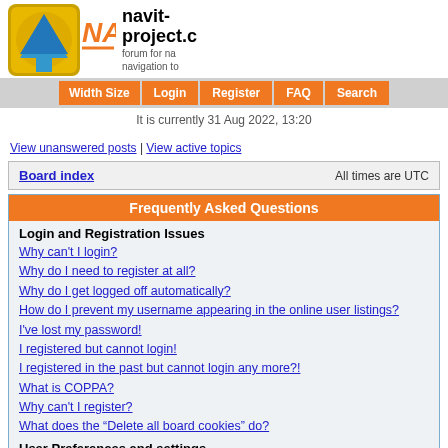[Figure (logo): Navit project logo with blue arrow icon and orange NAVIT text]
navit-project.c
forum for na navigation to
Width Size | Login | Register | FAQ | Search
It is currently 31 Aug 2022, 13:20
View unanswered posts | View active topics
| Board index | All times are UTC |
| --- | --- |
Frequently Asked Questions
Login and Registration Issues
Why can't I login?
Why do I need to register at all?
Why do I get logged off automatically?
How do I prevent my username appearing in the online user listings?
I've lost my password!
I registered but cannot login!
I registered in the past but cannot login any more?!
What is COPPA?
Why can't I register?
What does the “Delete all board cookies” do?
User Preferences and settings
How do I change my settings?